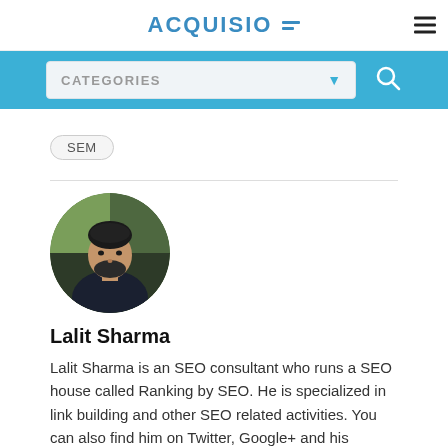ACQUISIO
CATEGORIES
SEM
[Figure (photo): Circular profile photo of Lalit Sharma, a man with dark hair and beard wearing a dark jacket, with green foliage in the background.]
Lalit Sharma
Lalit Sharma is an SEO consultant who runs a SEO house called Ranking by SEO. He is specialized in link building and other SEO related activities. You can also find him on Twitter, Google+ and his personal blog.